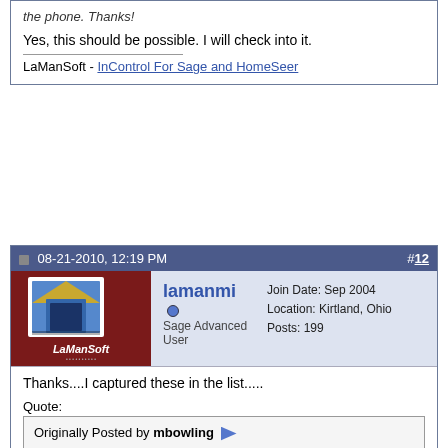the phone. Thanks!
Yes, this should be possible. I will check into it.
LaManSoft - InControl For Sage and HomeSeer
08-21-2010, 12:19 PM  #12
[Figure (photo): LaManSoft avatar - dark red background with blue house/door logo and LaManSoft text]
lamanmi  Sage Advanced User  Join Date: Sep 2004  Location: Kirtland, Ohio  Posts: 199
Thanks....I captured these in the list.....
Quote:
Originally Posted by mbowling  These issues still exist in 1.3.0. I didn't want them to get lost in the shuffle.  Second column sorting.  http://forums.sagetv.com/forums/show...4&postcount=13  Unknown door status icon.  http://forums.sagetv.com/forums/show...9&postcount=14